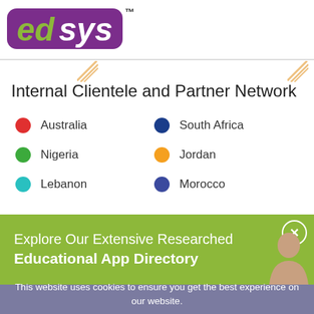[Figure (logo): edsys logo with purple rounded background and green/white text, TM mark]
Internal Clientele and Partner Network
Australia
South Africa
Nigeria
Jordan
Lebanon
Morocco
[Figure (infographic): Green banner with text: Explore Our Extensive Researched Educational App Directory, close button, person avatar]
This website uses cookies to ensure you get the best experience on our website.
Accept Cookies   Decline